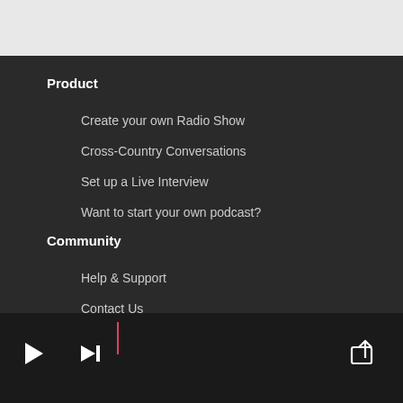Product
Create your own Radio Show
Cross-Country Conversations
Set up a Live Interview
Want to start your own podcast?
Community
Help & Support
Contact Us
Terms & Policy
[Figure (screenshot): Media player bottom bar with play, skip, progress line with pink marker, and share button icons on dark background]